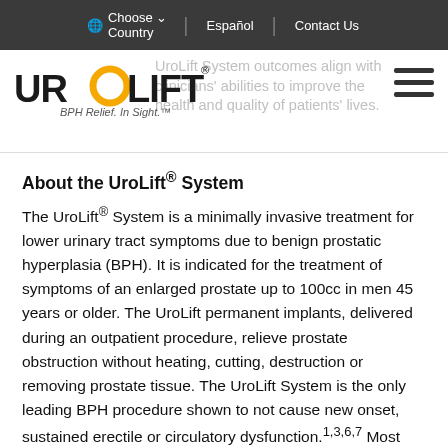Choose Country | Español | Contact Us
[Figure (logo): UroLift logo with tagline 'BPH Relief. In Sight.']
UroLift System outcomes align with clinicians' abilities to improve the health and quality of patients' lives.
About the UroLift® System
The UroLift® System is a minimally invasive treatment for lower urinary tract symptoms due to benign prostatic hyperplasia (BPH). It is indicated for the treatment of symptoms of an enlarged prostate up to 100cc in men 45 years or older. The UroLift permanent implants, delivered during an outpatient procedure, relieve prostate obstruction without heating, cutting, destruction or removing prostate tissue. The UroLift System is the only leading BPH procedure shown to not cause new onset, sustained erectile or circulatory dysfunction.1,3,6,7 Most